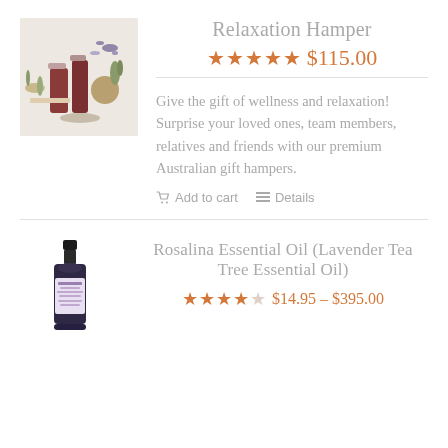[Figure (photo): Product photo of Relaxation Hamper showing spa/wellness items including bottles, candle, herbs on white background]
Relaxation Hamper
★★★★★ $115.00
Give the gift of wellness and relaxation! Surprise your loved ones, team members, relatives and friends with our premium Australian gift hampers.
Add to cart   Details
[Figure (photo): Product photo of Rosalina Essential Oil (Lavender Tea Tree Essential Oil) — small dark glass bottle with purple label]
Rosalina Essential Oil (Lavender Tea Tree Essential Oil)
★★★★☆ $14.95 – $395.00